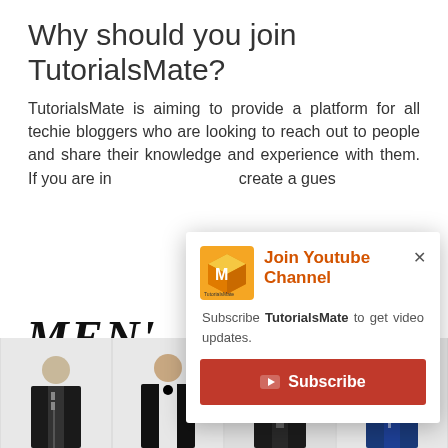Why should you join TutorialsMate?
TutorialsMate is aiming to provide a platform for all techie bloggers who are looking to reach out to people and share their knowledge and experience with them. If you are in... create a gues...
MEN'
[Figure (screenshot): TutorialsMate YouTube subscription popup with logo, 'Join Youtube Channel' heading, subscribe text, and Subscribe button]
[Figure (photo): Row of four men in suits - suits advertisement images at the bottom of the page]